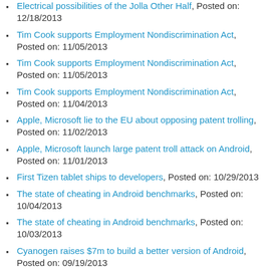Electrical possibilities of the Jolla Other Half, Posted on: 12/18/2013
Tim Cook supports Employment Nondiscrimination Act, Posted on: 11/05/2013
Tim Cook supports Employment Nondiscrimination Act, Posted on: 11/05/2013
Tim Cook supports Employment Nondiscrimination Act, Posted on: 11/04/2013
Apple, Microsoft lie to the EU about opposing patent trolling, Posted on: 11/02/2013
Apple, Microsoft launch large patent troll attack on Android, Posted on: 11/01/2013
First Tizen tablet ships to developers, Posted on: 10/29/2013
The state of cheating in Android benchmarks, Posted on: 10/04/2013
The state of cheating in Android benchmarks, Posted on: 10/03/2013
Cyanogen raises $7m to build a better version of Android, Posted on: 09/19/2013
NSA program collects 'nearly everything a user does